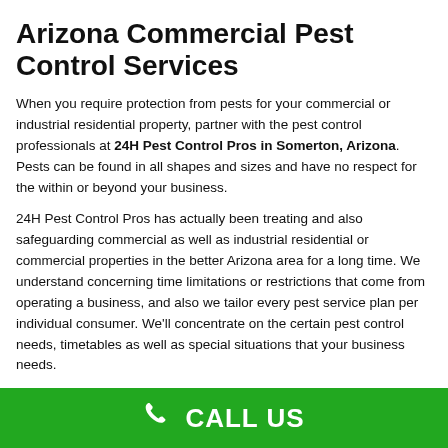Arizona Commercial Pest Control Services
When you require protection from pests for your commercial or industrial residential property, partner with the pest control professionals at 24H Pest Control Pros in Somerton, Arizona. Pests can be found in all shapes and sizes and have no respect for the within or beyond your business.
24H Pest Control Pros has actually been treating and also safeguarding commercial as well as industrial residential or commercial properties in the better Arizona area for a long time. We understand concerning time limitations or restrictions that come from operating a business, and also we tailor every pest service plan per individual consumer. We'll concentrate on the certain pest control needs, timetables as well as special situations that your business needs.
Have You Identified Any of These
CALL US